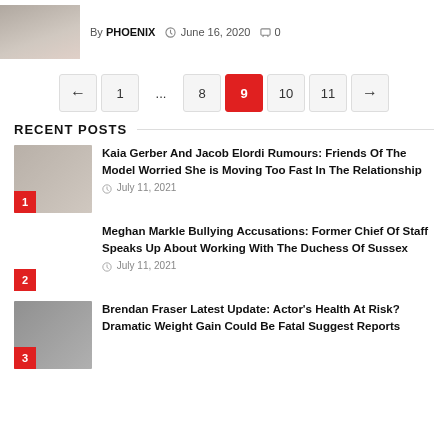By PHOENIX  June 16, 2020  0
← 1 … 8 9 10 11 →
RECENT POSTS
Kaia Gerber And Jacob Elordi Rumours: Friends Of The Model Worried She is Moving Too Fast In The Relationship — July 11, 2021
Meghan Markle Bullying Accusations: Former Chief Of Staff Speaks Up About Working With The Duchess Of Sussex — July 11, 2021
Brendan Fraser Latest Update: Actor's Health At Risk? Dramatic Weight Gain Could Be Fatal Suggest Reports